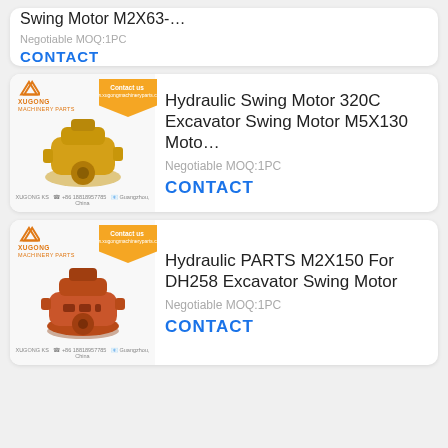[Figure (screenshot): Partial product card showing Swing Motor M2X63-... with Negotiable MOQ:1PC and CONTACT button]
[Figure (photo): XUGONG MACHINERY PARTS product listing card showing Hydraulic Swing Motor 320C Excavator Swing Motor M5X130 Moto... Negotiable MOQ:1PC with CONTACT button, yellow hydraulic motor photo]
[Figure (photo): XUGONG MACHINERY PARTS product listing card showing Hydraulic PARTS M2X150 For DH258 Excavator Swing Motor, Negotiable MOQ:1PC with CONTACT button, red/brown hydraulic motor photo]